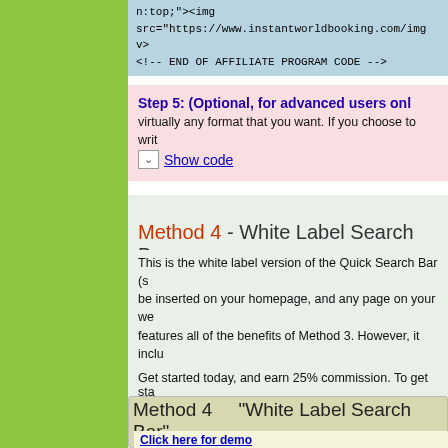n:top;"><img src="https://www.instantworldbooking.com/img...
v>
<!-- END OF AFFILIATE PROGRAM CODE -->
Step 5:  (Optional, for advanced users only...
virtually any format that you want. If you choose to writ...
Show code
Method 4  -  White Label Search Bar
This is the white label version of the Quick Search Bar (s... be inserted on your homepage, and any page on your we... features all of the benefits of Method 3. However, it inclu... format are preserved on all booking pages. Like Method ... through our trusted interface. We even track your visitors... up to 30 days later to make a reservation.
Get started today, and earn 25% commission.  To get sta...
Method 4    "White Label Search Bar"
Click here for demo
Set up your affiliate program in minutes. Everything you...
With this white label affiliate program, your website's b...